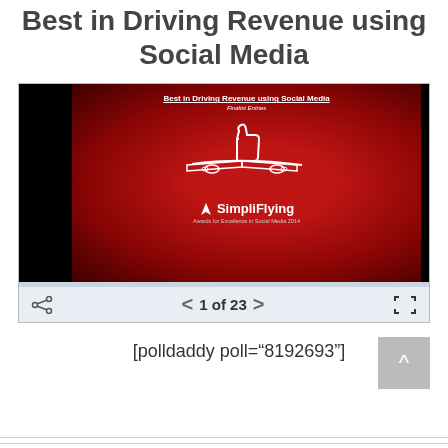Best in Driving Revenue using Social Media
[Figure (screenshot): Slideshow embed showing a SimpliFlying Awards for Excellence in Social Media 2014 presentation slide titled 'Best in Driving Revenue using Social Media - Finalist Entries', with a thumbs-up airplane graphic on a dark red background, and a navigation bar showing '1 of 23']
[polldaddy poll="8192693"]